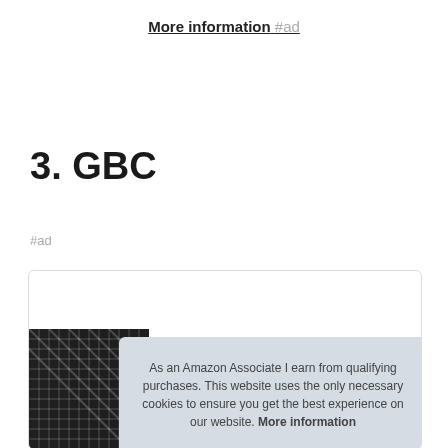More information #ad
3. GBC
#ad
[Figure (photo): Product image showing black woven/braided material, partially visible at bottom-left of a bordered product card box.]
As an Amazon Associate I earn from qualifying purchases. This website uses the only necessary cookies to ensure you get the best experience on our website. More information